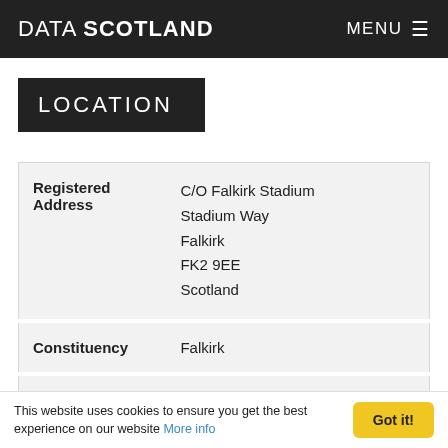DATA SCOTLAND   MENU ≡
LOCATION
| Registered Address | C/O Falkirk Stadium
Stadium Way
Falkirk
FK2 9EE
Scotland |
| Constituency | Falkirk |
| Ward | Falkirk North |
SHAREHOLDERS
This website uses cookies to ensure you get the best experience on our website More info